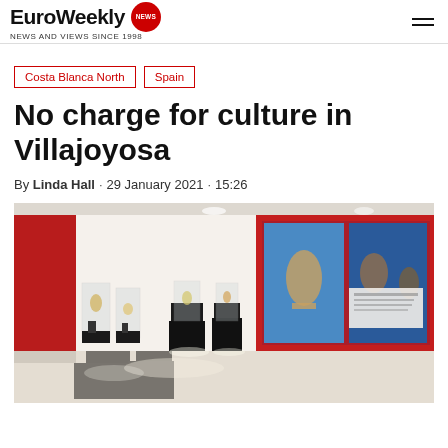EuroWeekly NEWS AND VIEWS SINCE 1998
Costa Blanca North
Spain
No charge for culture in Villajoyosa
By Linda Hall · 29 January 2021 · 15:26
[Figure (photo): Interior of a museum with red walls, black display plinths, glass display cases containing artifacts, and large illuminated panels on the right wall showing archaeological images.]